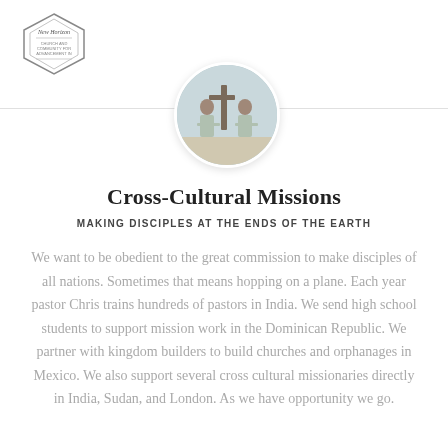New Horizon
[Figure (photo): Circular cropped photo of people holding a cross, mission-related image]
Cross-Cultural Missions
MAKING DISCIPLES AT THE ENDS OF THE EARTH
We want to be obedient to the great commission to make disciples of all nations. Sometimes that means hopping on a plane. Each year pastor Chris trains hundreds of pastors in India. We send high school students to support mission work in the Dominican Republic. We partner with kingdom builders to build churches and orphanages in Mexico. We also support several cross cultural missionaries directly in India, Sudan, and London. As we have opportunity we go.